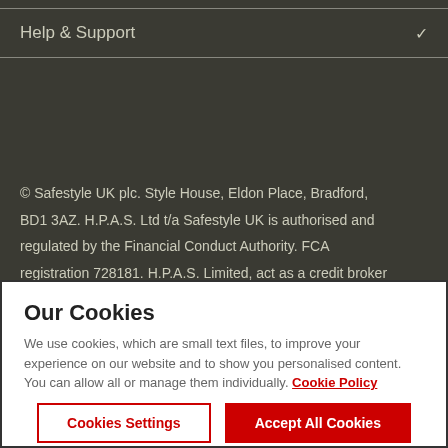Help & Support
© Safestyle UK plc. Style House, Eldon Place, Bradford, BD1 3AZ. H.P.A.S. Ltd t/a Safestyle UK is authorised and regulated by the Financial Conduct Authority. FCA registration 728181. H.P.A.S. Limited, act as a credit broker and not the lender, and offers products from a range of
Our Cookies
We use cookies, which are small text files, to improve your experience on our website and to show you personalised content. You can allow all or manage them individually. Cookie Policy
Cookies Settings
Accept All Cookies